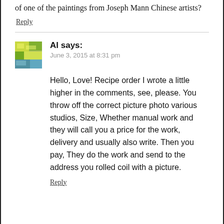of one of the paintings from Joseph Mann Chinese artists?
Reply
Al says:
June 3, 2015 at 8:31 pm
Hello, Love! Recipe order I wrote a little higher in the comments, see, please. You throw off the correct picture photo various studios, Size, Whether manual work and they will call you a price for the work, delivery and usually also write. Then you pay, They do the work and send to the address you rolled coil with a picture.
Reply